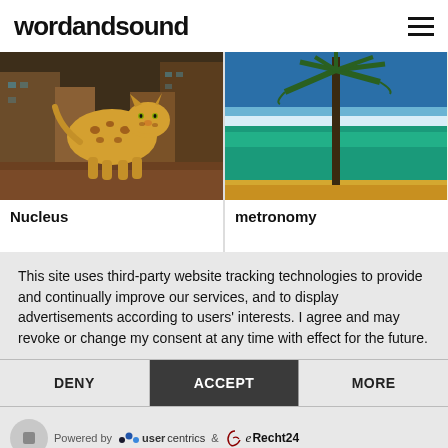wordandsound
[Figure (photo): Album art: leopard in city ruins (Nucleus)]
[Figure (photo): Album art: palm tree by ocean (metronomy)]
Nucleus
metronomy
This site uses third-party website tracking technologies to provide and continually improve our services, and to display advertisements according to users' interests. I agree and may revoke or change my consent at any time with effect for the future.
DENY
ACCEPT
MORE
Powered by usercentrics & eRecht24